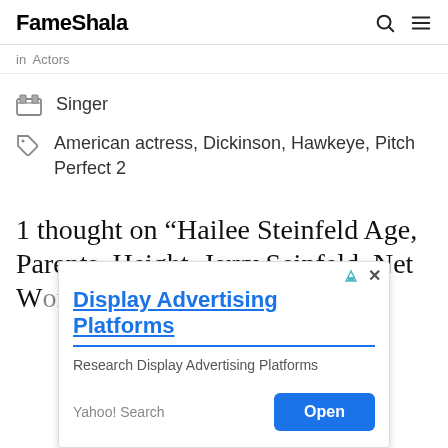FameShala
in Actors
Singer
American actress, Dickinson, Hawkeye, Pitch Perfect 2
1 thought on “Hailee Steinfeld Age, Parents, Height, Jerry Seinfeld, Net Worth”
[Figure (screenshot): Display Advertising Platforms advertisement overlay with Yahoo Search branding and Open button]